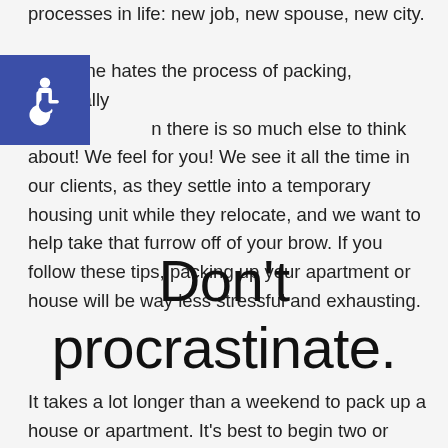processes in life: new job, new spouse, new city. Everyone hates the process of packing, especially when there is so much else to think about! We feel for you! We see it all the time in our clients, as they settle into a temporary housing unit while they relocate, and we want to help take that furrow off of your brow. If you follow these tips, packing up your apartment or house will be way less stressful and exhausting.
Don't procrastinate.
It takes a lot longer than a weekend to pack up a house or apartment. It's best to begin two or three